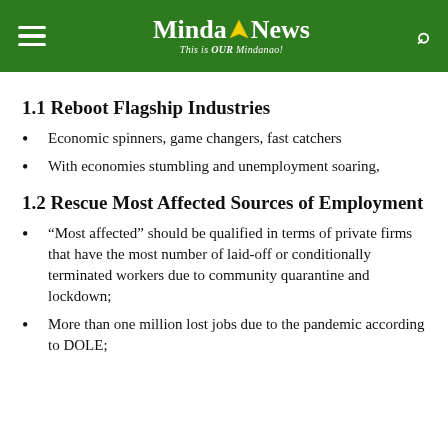MindaNews — This is OUR Mindanao!
1.1 Reboot Flagship Industries
Economic spinners, game changers, fast catchers
With economies stumbling and unemployment soaring,
1.2 Rescue Most Affected Sources of Employment
“Most affected” should be qualified in terms of private firms that have the most number of laid-off or conditionally terminated workers due to community quarantine and lockdown;
More than one million lost jobs due to the pandemic according to DOLE;